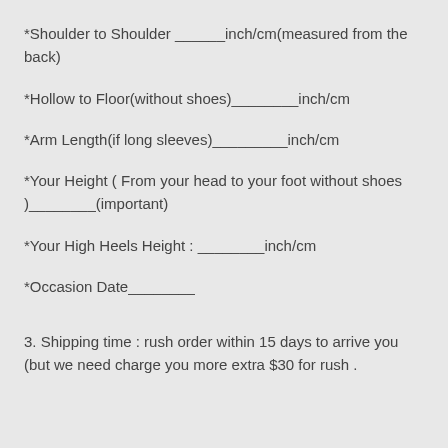*Shoulder to Shoulder ______inch/cm(measured from the back)
*Hollow to Floor(without shoes)________inch/cm
*Arm Length(if long sleeves)_________inch/cm
*Your Height ( From your head to your foot without shoes )________(important)
*Your High Heels Height : ________inch/cm
*Occasion Date________
3. Shipping time : rush order within 15 days to arrive you (but we need charge you more extra $30 for rush .